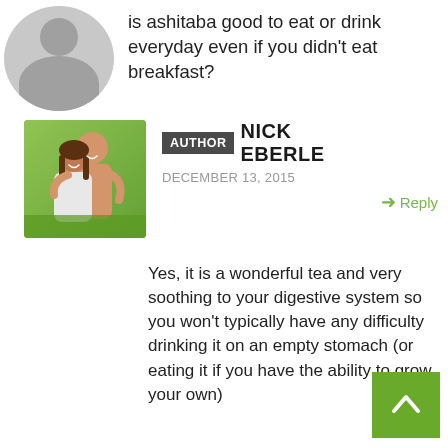is ashitaba good to eat or drink everyday even if you didn't eat breakfast?
[Figure (photo): Author photo: smiling man and woman hugging outdoors with green background]
AUTHOR NICK EBERLE
DECEMBER 13, 2015
Reply
Yes, it is a wonderful tea and very soothing to your digestive system so you won't typically have any difficulty drinking it on an empty stomach (or eating it if you have the ability to grow your own)